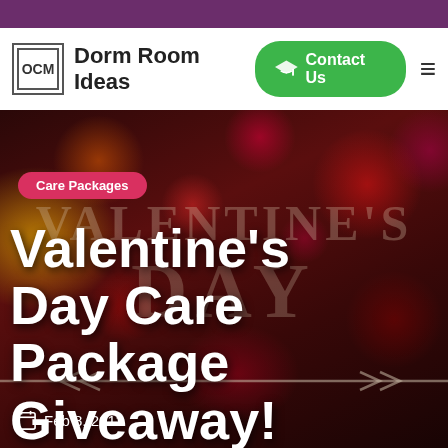Dorm Room Ideas
[Figure (photo): Valentine's Day themed hero image with bokeh red and pink hearts in the background, overlaid with large decorative Valentine's Day text. Contains a 'Care Packages' pill tag, a headline 'Valentine's Day Care Package Giveaway!', and a date of Feb 8, 2013.]
Care Packages
Valentine's Day Care Package Giveaway!
Feb 8, 2013